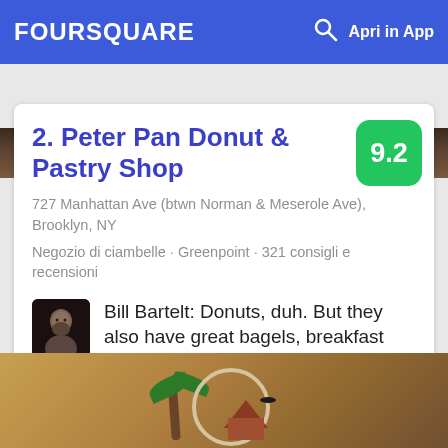FOURSQUARE  Apri in App
[Figure (screenshot): Top photo strip showing blurred restaurant interior]
2. Peter Pan Donut & Pastry Shop
727 Manhattan Ave (btwn Norman & Meserole Ave), Brooklyn, NY
Negozio di ciambelle · Greenpoint · 321 consigli e recensioni
Bill Bartelt: Donuts, duh. But they also have great bagels, breakfast sandwiches made to order, and coffee.
[Figure (photo): Bottom image showing a decorative plate with a palm tree and house scene]